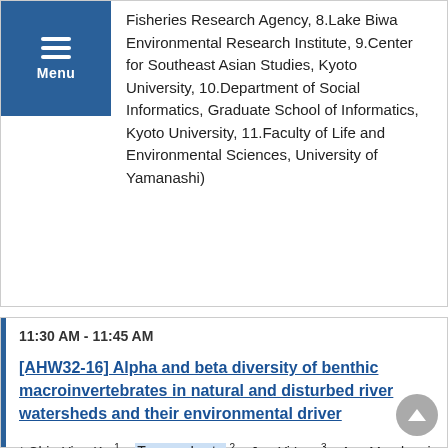Fisheries Research Agency, 8.Lake Biwa Environmental Research Institute, 9.Center for Southeast Asian Studies, Kyoto University, 10.Department of Social Informatics, Graduate School of Informatics, Kyoto University, 11.Faculty of Life and Environmental Sciences, University of Yamanashi)
11:30 AM - 11:45 AM
[AHW32-16] Alpha and beta diversity of benthic macroinvertebrates in natural and disturbed river watersheds and their environmental driver
* Chia-Ying Ko 1, Tomoya Iwata 2, Jun-Yi Lee 3, Aya Murakami 4, Junichi Okano 4, Naoto Ishikawa 5, Yoichiro Sakai 6, Ichiro Tayasu 7, Masayuki Itoh 8, Uhram Song 9, Hiroyuki Togashi 10, Shinich Nakano 4, Nobuhito Ohte 11, Noboru Okuda 7
(1.Institute of Fisheries Science, National Taiwan Univ., 2.Faculty of Life and Environmental Sciences, Yamanashi Univ., 3.Department of Geography, National Taiwan Univ.,